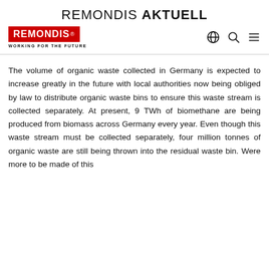REMONDIS AKTUELL
[Figure (logo): REMONDIS logo in red rectangle with registered trademark symbol, with tagline WORKING FOR THE FUTURE below]
The volume of organic waste collected in Germany is expected to increase greatly in the future with local authorities now being obliged by law to distribute organic waste bins to ensure this waste stream is collected separately. At present, 9 TWh of biomethane are being produced from biomass across Germany every year. Even though this waste stream must be collected separately, four million tonnes of organic waste are still being thrown into the residual waste bin. Were more to be made of this